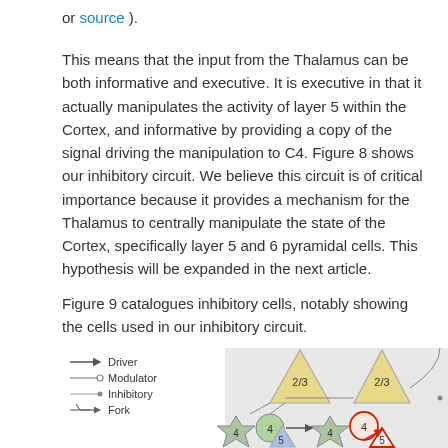or source ).
This means that the input from the Thalamus can be both informative and executive. It is executive in that it actually manipulates the activity of layer 5 within the Cortex, and informative by providing a copy of the signal driving the manipulation to C4. Figure 8 shows our inhibitory circuit. We believe this circuit is of critical importance because it provides a mechanism for the Thalamus to centrally manipulate the state of the Cortex, specifically layer 5 and 6 pyramidal cells. This hypothesis will be expanded in the next article.
Figure 9 catalogues inhibitory cells, notably showing the cells used in our inhibitory circuit.
[Figure (schematic): Neural circuit diagram legend and partial diagram showing Driver, Modulator, Inhibitory, and Fork connection types, with triangular pyramidal cells labeled 2/3, star-shaped cells labeled 4, circular cells labeled 4, and triangular cells labeled 5, connected by various arrow types.]